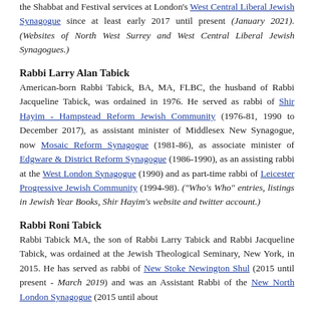the Shabbat and Festival services at London's West Central Liberal Jewish Synagogue since at least early 2017 until present (January 2021). (Websites of North West Surrey and West Central Liberal Jewish Synagogues.)
Rabbi Larry Alan Tabick
American-born Rabbi Tabick, BA, MA, FLBC, the husband of Rabbi Jacqueline Tabick, was ordained in 1976. He served as rabbi of Shir Hayim - Hampstead Reform Jewish Community (1976-81, 1990 to December 2017), as assistant minister of Middlesex New Synagogue, now Mosaic Reform Synagogue (1981-86), as associate minister of Edgware & District Reform Synagogue (1986-1990), as an assisting rabbi at the West London Synagogue (1990) and as part-time rabbi of Leicester Progressive Jewish Community (1994-98). ("Who's Who" entries, listings in Jewish Year Books, Shir Hayim's website and twitter account.)
Rabbi Roni Tabick
Rabbi Tabick MA, the son of Rabbi Larry Tabick and Rabbi Jacqueline Tabick, was ordained at the Jewish Theological Seminary, New York, in 2015. He has served as rabbi of New Stoke Newington Shul (2015 until present - March 2019) and was an Assistant Rabbi of the New North London Synagogue (2015 until about